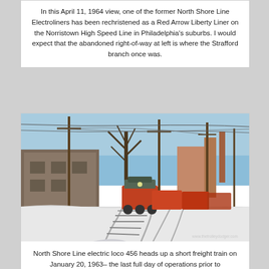In this April 11, 1964 view, one of the former North Shore Line Electroliners has been rechristened as a Red Arrow Liberty Liner on the Norristown High Speed Line in Philadelphia's suburbs. I would expect that the abandoned right-of-way at left is where the Strafford branch once was.
[Figure (photo): Winter scene of North Shore Line electric locomotive 456 heading up a short freight train on a curved track with snow on the ground, utility poles and overhead wires visible, brick buildings on left, industrial chimney in background, blue sky. Watermark: www.thetrolleydodger.com]
North Shore Line electric loco 456 heads up a short freight train on January 20, 1963– the last full day of operations prior to abandonment.